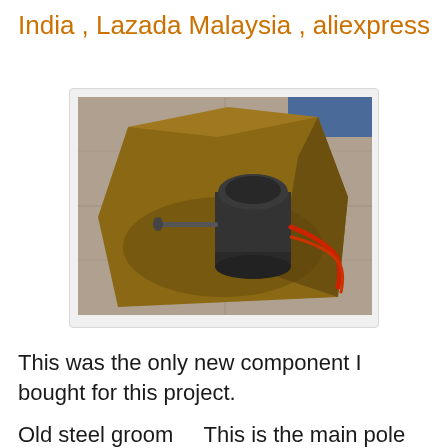India , Lazada Malaysia , aliexpress
[Figure (photo): A black cylindrical electric motor with a red wire, sitting inside an open cardboard box on a tiled floor.]
This was the only new component I bought for this project.
Old steel groom...  This is the main pole...